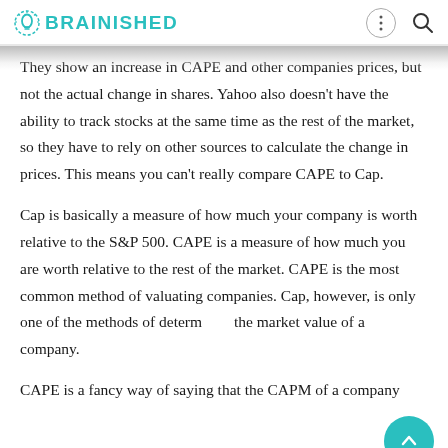BRAINISHED
They show an increase in CAPE and other companies prices, but not the actual change in shares. Yahoo also doesn't have the ability to track stocks at the same time as the rest of the market, so they have to rely on other sources to calculate the change in prices. This means you can't really compare CAPE to Cap.
Cap is basically a measure of how much your company is worth relative to the S&P 500. CAPE is a measure of how much you are worth relative to the rest of the market. CAPE is the most common method of valuating companies. Cap, however, is only one of the methods of determining the market value of a company.
CAPE is a fancy way of saying that the CAPM of a company